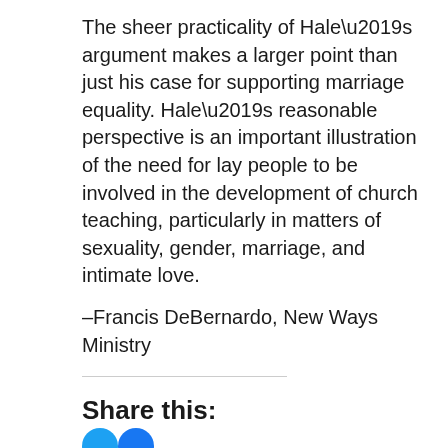The sheer practicality of Hale’s argument makes a larger point than just his case for supporting marriage equality. Hale’s reasonable perspective is an important illustration of the need for lay people to be involved in the development of church teaching, particularly in matters of sexuality, gender, marriage, and intimate love.
–Francis DeBernardo, New Ways Ministry
Share this: